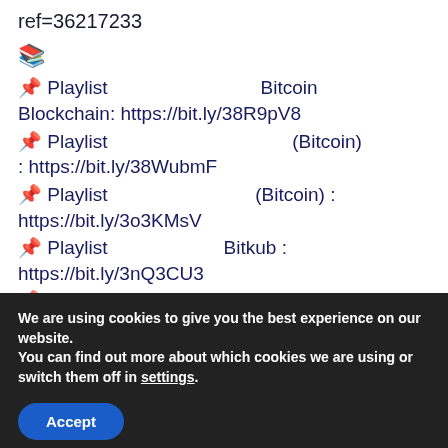ref=36217233
📚
📌 Playlist  Bitcoin Blockchain: https://bit.ly/38R9pV8
📌 Playlist  (Bitcoin) : https://bit.ly/38WubmF
📌 Playlist  (Bitcoin) : https://bit.ly/3o3KMsV
📌 Playlist  Bitkub : https://bit.ly/3nQ3CU3
📌 Playlist  Binance :
We are using cookies to give you the best experience on our website.
You can find out more about which cookies we are using or switch them off in settings.
Accept